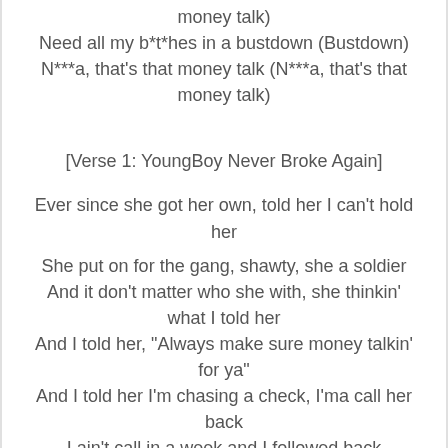money talk)
Need all my b*t*hes in a bustdown (Bustdown)
N***a, that's that money talk (N***a, that's that money talk)
[Verse 1: YoungBoy Never Broke Again]
Ever since she got her own, told her I can't hold her
She put on for the gang, shawty, she a soldier
And it don't matter who she with, she thinkin' what I told her
And I told her, "Always make sure money talkin' for ya"
And I told her I'm chasing a check, I'ma call her back
I ain't call in a week and I followed back
I got sticks in the Jeep, I'm on all of that